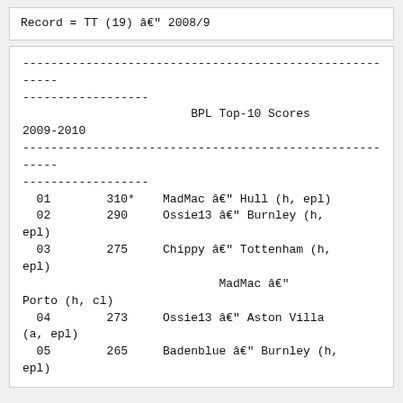Record = TT (19) â€" 2008/9
--------------------------------------------------------
------------------
                        BPL Top-10 Scores 2009-2010
--------------------------------------------------------
------------------
  01        310*    MadMac â€" Hull (h, epl)
  02        290     Ossie13 â€" Burnley (h, epl)
  03        275     Chippy â€" Tottenham (h, epl)
                            MadMac â€" Porto (h, cl)
  04        273     Ossie13 â€" Aston Villa (a, epl)
  05        265     Badenblue â€" Burnley (h, epl)